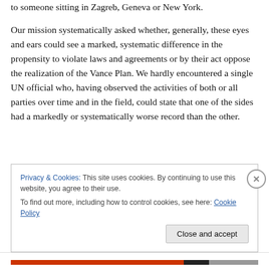to someone sitting in Zagreb, Geneva or New York.
Our mission systematically asked whether, generally, these eyes and ears could see a marked, systematic difference in the propensity to violate laws and agreements or by their act oppose the realization of the Vance Plan. We hardly encountered a single UN official who, having observed the activities of both or all parties over time and in the field, could state that one of the sides had a markedly or systematically worse record than the other.
Privacy & Cookies: This site uses cookies. By continuing to use this website, you agree to their use. To find out more, including how to control cookies, see here: Cookie Policy
Close and accept